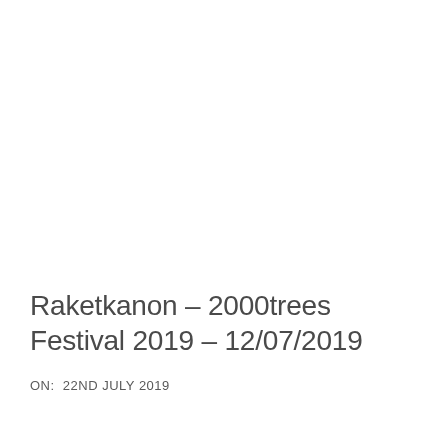Raketkanon – 2000trees Festival 2019 – 12/07/2019
ON:  22ND JULY 2019